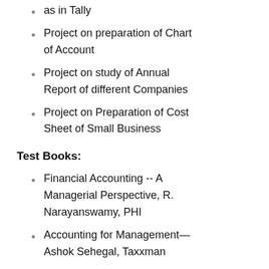as in Tally
Project on preparation of Chart of Account
Project on study of Annual Report of different Companies
Project on Preparation of Cost Sheet of Small Business
Test Books:
Financial Accounting -- A Managerial Perspective, R. Narayanswamy, PHI
Accounting for Management—Ashok Sehegal, Taxxman
Horngreen, Datar, Foster- Cost